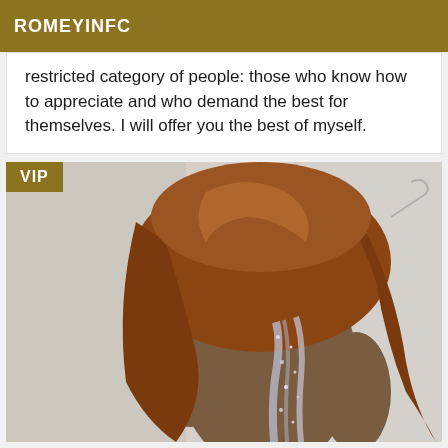ROMEYINFC
restricted category of people: those who know how to appreciate and who demand the best for themselves. I will offer you the best of myself.
[Figure (photo): Person with long reddish-brown hair, viewed from behind, wearing a sparkly backless dress, against a light background. VIP badge in top-left corner.]